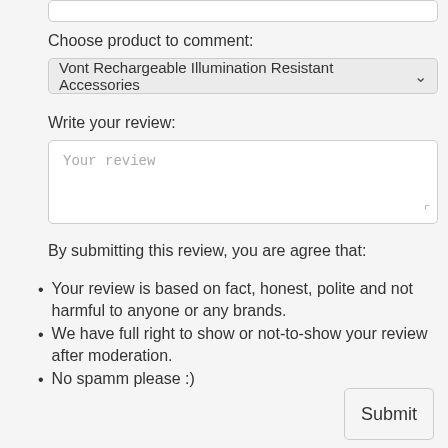Choose product to comment:
Vont Rechargeable Illumination Resistant Accessories
Write your review:
Your review
By submitting this review, you are agree that:
Your review is based on fact, honest, polite and not harmful to anyone or any brands.
We have full right to show or not-to-show your review after moderation.
No spamm please :)
Submit